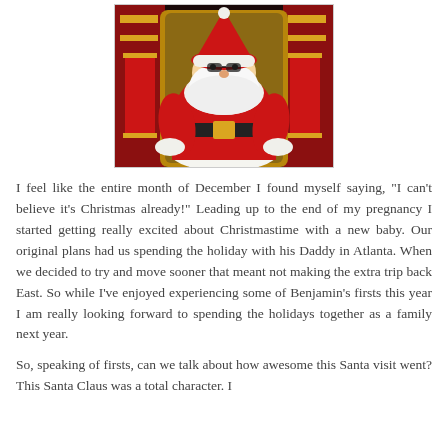[Figure (photo): Photo of Santa Claus sitting on a gold throne/chair, dressed in red and white suit, with toy soldier decorations visible on either side in the background.]
I feel like the entire month of December I found myself saying, "I can't believe it's Christmas already!" Leading up to the end of my pregnancy I started getting really excited about Christmastime with a new baby. Our original plans had us spending the holiday with his Daddy in Atlanta. When we decided to try and move sooner that meant not making the extra trip back East. So while I've enjoyed experiencing some of Benjamin's firsts this year I am really looking forward to spending the holidays together as a family next year.
So, speaking of firsts, can we talk about how awesome this Santa visit went? This Santa Claus was a total character. I